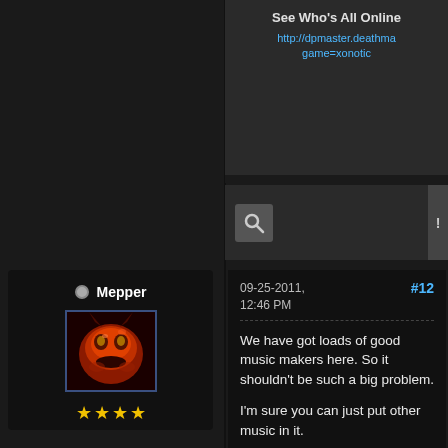See Who's All Online
http://dpmaster.deathma... game=xonotic
[Figure (screenshot): Search icon button (magnifying glass) in a gray box]
Mepper
[Figure (photo): Avatar image showing a dark red/orange demonic face]
★★★★ (four gold stars)
09-25-2011, 12:46 PM
#12
We have got loads of good music makers here. So it shouldn't be such a big problem.
I'm sure you can just put other music in it.
[image: